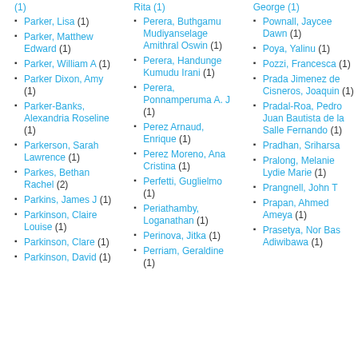(1)
Parker, Lisa (1)
Parker, Matthew Edward (1)
Parker, William A (1)
Parker Dixon, Amy (1)
Parker-Banks, Alexandria Roseline (1)
Parkerson, Sarah Lawrence (1)
Parkes, Bethan Rachel (2)
Parkins, James J (1)
Parkinson, Claire Louise (1)
Parkinson, Clare (1)
Parkinson, David (1)
Rita (1)
Perera, Buthgamu Mudiyanselage Amithral Oswin (1)
Perera, Handunge Kumudu Irani (1)
Perera, Ponnamperuma A. J (1)
Perez Arnaud, Enrique (1)
Perez Moreno, Ana Cristina (1)
Perfetti, Guglielmo (1)
Periathamby, Loganathan (1)
Perinova, Jitka (1)
Perriam, Geraldine (1)
George (1)
Pownall, Jaycee Dawn (1)
Poya, Yalinu (1)
Pozzi, Francesca (1)
Prada Jimenez de Cisneros, Joaquin (1)
Pradal-Roa, Pedro Juan Bautista de la Salle Fernando (1)
Pradhan, Sriharsa (1)
Pralong, Melanie Lydie Marie (1)
Prangnell, John T (1)
Prapan, Ahmed Ameya (1)
Prasetya, Nor Bas Adiwibawa (1)